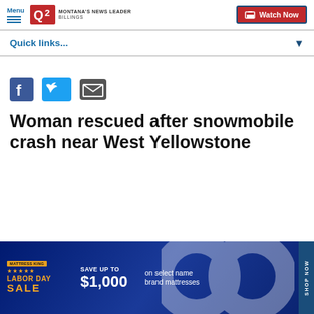Menu | Q2 MONTANA'S NEWS LEADER BILLINGS | Watch Now
Quick links...
[Figure (other): Social share icons: Facebook, Twitter, Email]
Woman rescued after snowmobile crash near West Yellowstone
[Figure (other): Advertisement banner: LABOR DAY SALE - Save up to $1,000 on select name brand mattresses. Shop Now.]